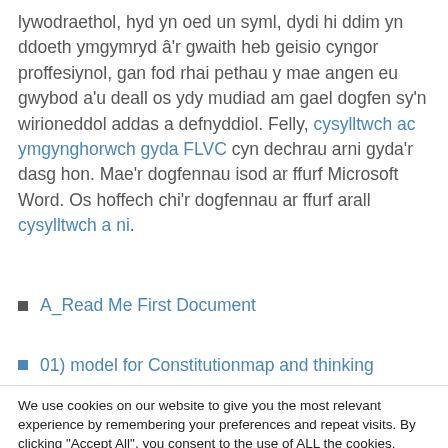lywodraethol, hyd yn oed un syml, dydi hi ddim yn ddoeth ymgymryd â'r gwaith heb geisio cyngor proffesiynol, gan fod rhai pethau y mae angen eu gwybod a'u deall os ydy mudiad am gael dogfen sy'n wirioneddol addas a defnyddiol. Felly, cysylltwch ac ymgynghorwch gyda FLVC cyn dechrau arni gyda'r dasg hon. Mae'r dogfennau isod ar ffurf Microsoft Word. Os hoffech chi'r dogfennau ar ffurf arall cysylltwch a ni.
A_Read Me First Document
We use cookies on our website to give you the most relevant experience by remembering your preferences and repeat visits. By clicking "Accept All", you consent to the use of ALL the cookies. However, you may visit "Cookie Settings" to provide a controlled consent.